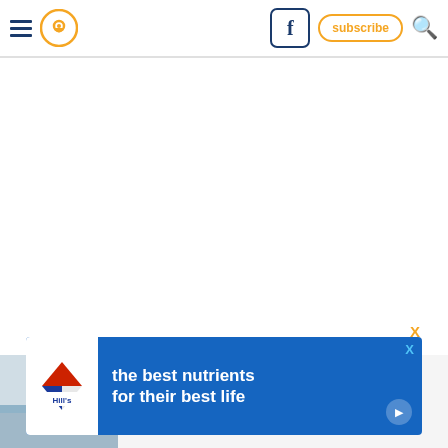Navigation header with hamburger menu, location pin icon, Facebook button, subscribe button, search icon
[Figure (screenshot): White blank content area (advertisement or image loading area)]
[Figure (photo): Article preview with author photo showing beach/outdoor scene]
Ashley ... and is the Oklahoma staff writer for onlyinyourstate.com. When she isn't exploring Oklahoma, she enjoys visiting the beaches of California
[Figure (infographic): Hill's pet nutrition advertisement banner: 'the best nutrients for their best life' with Hill's logo and play button]
X close button for advertisement